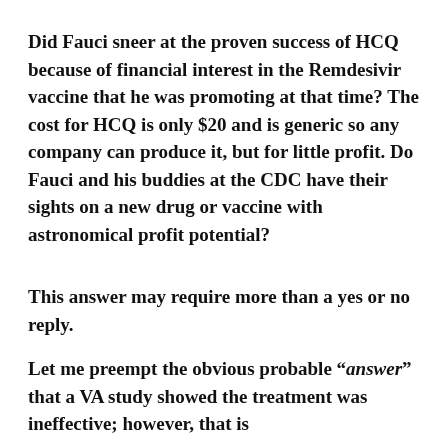Did Fauci sneer at the proven success of HCQ because of financial interest in the Remdesivir vaccine that he was promoting at that time? The cost for HCQ is only $20 and is generic so any company can produce it, but for little profit. Do Fauci and his buddies at the CDC have their sights on a new drug or vaccine with astronomical profit potential?
This answer may require more than a yes or no reply.
Let me preempt the obvious probable “answer” that a VA study showed the treatment was ineffective; however, that is